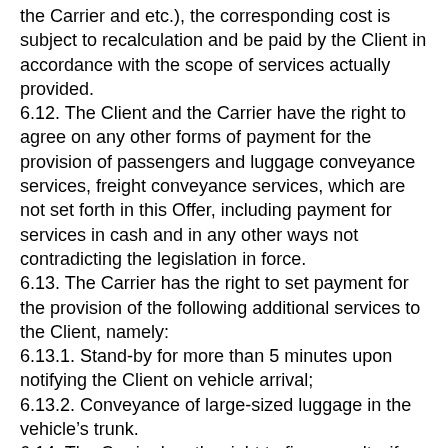the Carrier and etc.), the corresponding cost is subject to recalculation and be paid by the Client in accordance with the scope of services actually provided.
6.12. The Client and the Carrier have the right to agree on any other forms of payment for the provision of passengers and luggage conveyance services, freight conveyance services, which are not set forth in this Offer, including payment for services in cash and in any other ways not contradicting the legislation in force.
6.13. The Carrier has the right to set payment for the provision of the following additional services to the Client, namely:
6.13.1. Stand-by for more than 5 minutes upon notifying the Client on vehicle arrival;
6.13.2. Conveyance of large-sized luggage in the vehicle’s trunk.
6.14. The Carrier has the right to fix a penalty, if the Client refuses from the trip after the Carrier’s vehicle arrived at the address mentioned by the Client. The penalty amount is